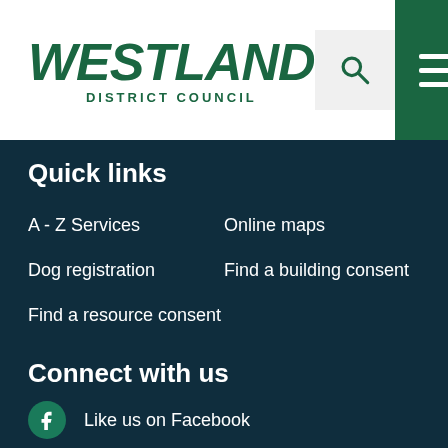[Figure (logo): Westland District Council logo — green italic text 'WESTLAND' with 'DISTRICT COUNCIL' below in smaller caps]
Quick links
A - Z Services
Online maps
Dog registration
Find a building consent
Find a resource consent
Connect with us
Like us on Facebook
Find us on LinkedIn
Subscribe to news